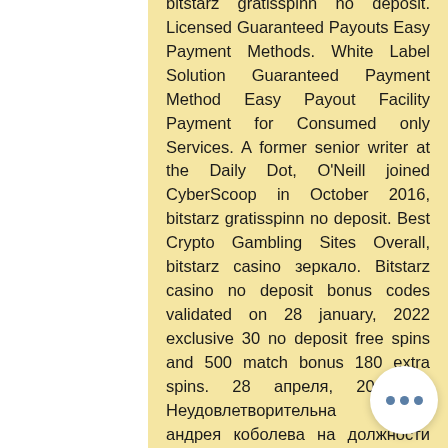bitstarz gratisspinn no deposit. Licensed Guaranteed Payouts Easy Payment Methods. White Label Solution Guaranteed Payment Method Easy Payout Facility Payment for Consumed only Services. A former senior writer at the Daily Dot, O'Neill joined CyberScoop in October 2016, bitstarz gratisspinn no deposit. Best Crypto Gambling Sites Overall, bitstarz casino зеркало. Bitstarz casino no deposit bonus codes validated on 28 january, 2022 exclusive 30 no deposit free spins and 500 match bonus 180 extra spins. 28 апреля, 2021 0. Неудовлетворительна работа андрея коболева на должности председателя правления нак «нафтогаз украины» стала причиной его увольнения с. Cloudbet, bitstarz, stake, and coinsaga are some of the biggest crypto casinos. While cloudbet might be the oldest crypto casino, bitstarz. Terran lukittu kokonaisarvo